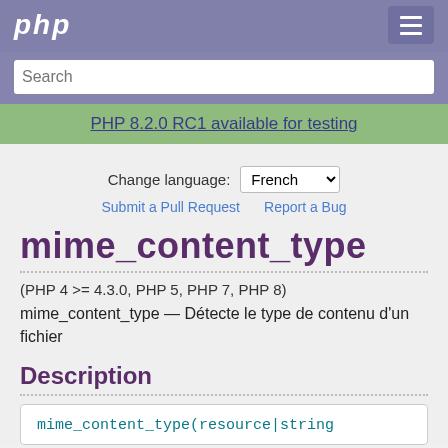php
Search
PHP 8.2.0 RC1 available for testing
Change language: French
Submit a Pull Request  Report a Bug
mime_content_type
(PHP 4 >= 4.3.0, PHP 5, PHP 7, PHP 8)
mime_content_type — Détecte le type de contenu d'un fichier
Description
mime_content_type(resource|string